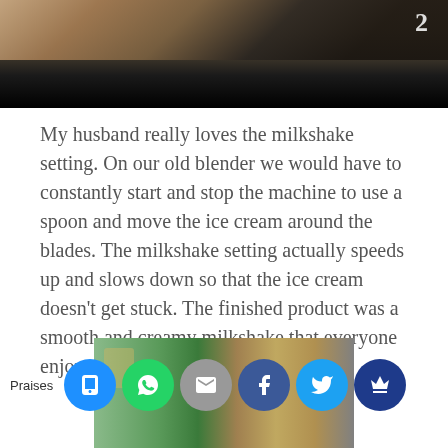[Figure (photo): Top portion of a photo showing people, partially cropped with dark bottom edge]
My husband really loves the milkshake setting. On our old blender we would have to constantly start and stop the machine to use a spoon and move the ice cream around the blades. The milkshake setting actually speeds up and slows down so that the ice cream doesn't get stuck. The finished product was a smooth and creamy milkshake that everyone enjoyed.
[Figure (photo): Children looking at something, possibly a blender or kitchen appliance]
Praises